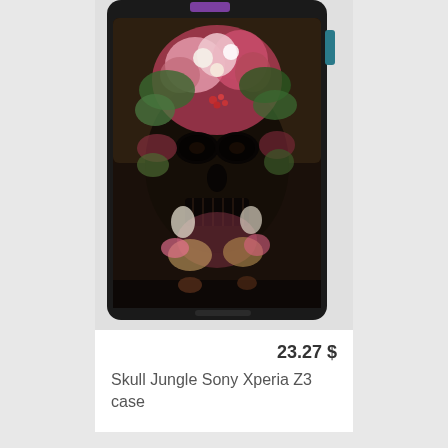[Figure (photo): A Sony Xperia Z3 smartphone case featuring a floral jungle skull design. The phone case is black with a colorful artwork depicting a skull made of tropical flowers, plants, butterflies, and animals. The phone shows a purple camera button at the top.]
23.27 $
Skull Jungle Sony Xperia Z3 case